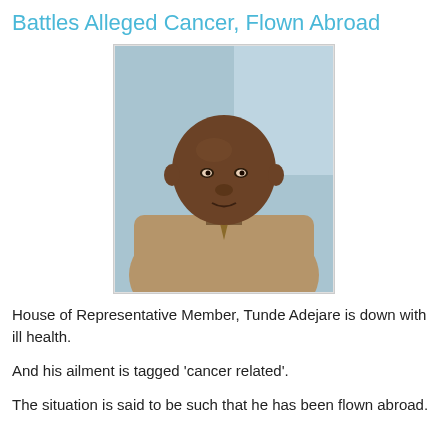Battles Alleged Cancer, Flown Abroad
[Figure (photo): Portrait photo of Tunde Adejare, a bald man wearing a tan/brown suit and tie, seated against a light blue background.]
House of Representative Member, Tunde Adejare is down with ill health.
And his ailment is tagged 'cancer related'.
The situation is said to be such that he has been flown abroad.